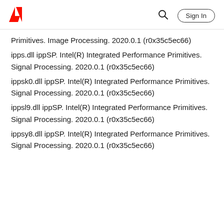Adobe | Sign In
Primitives. Image Processing. 2020.0.1 (r0x35c5ec66)
ipps.dll ippSP. Intel(R) Integrated Performance Primitives. Signal Processing. 2020.0.1 (r0x35c5ec66)
ippsk0.dll ippSP. Intel(R) Integrated Performance Primitives. Signal Processing. 2020.0.1 (r0x35c5ec66)
ippsl9.dll ippSP. Intel(R) Integrated Performance Primitives. Signal Processing. 2020.0.1 (r0x35c5ec66)
ippsy8.dll ippSP. Intel(R) Integrated Performance Primitives. Signal Processing. 2020.0.1 (r0x35c5ec66)